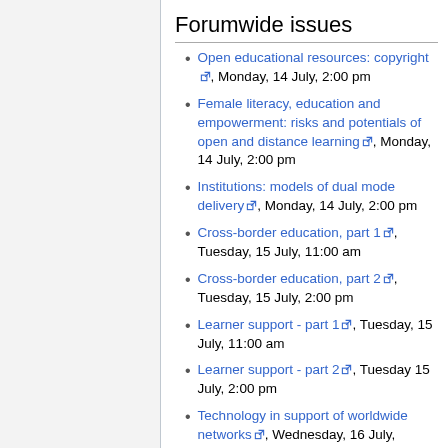Forumwide issues
Open educational resources: copyright [ext], Monday, 14 July, 2:00 pm
Female literacy, education and empowerment: risks and potentials of open and distance learning [ext], Monday, 14 July, 2:00 pm
Institutions: models of dual mode delivery [ext], Monday, 14 July, 2:00 pm
Cross-border education, part 1 [ext], Tuesday, 15 July, 11:00 am
Cross-border education, part 2 [ext], Tuesday, 15 July, 2:00 pm
Learner support - part 1 [ext], Tuesday, 15 July, 11:00 am
Learner support - part 2 [ext], Tuesday 15 July, 2:00 pm
Technology in support of worldwide networks [ext], Wednesday, 16 July,